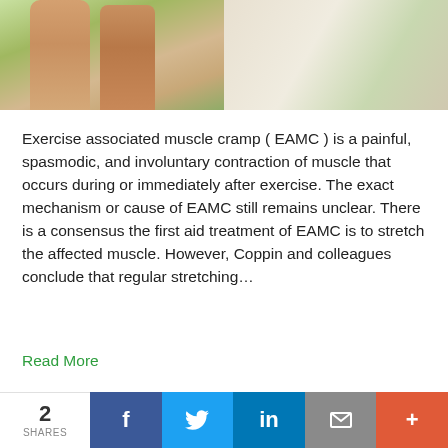[Figure (photo): Two photos side by side: left shows legs of a person standing on grass, right shows a path/trail outdoors]
Exercise associated muscle cramp ( EAMC ) is a painful, spasmodic, and involuntary contraction of muscle that occurs during or immediately after exercise. The exact mechanism or cause of EAMC still remains unclear. There is a consensus the first aid treatment of EAMC is to stretch the affected muscle. However, Coppin and colleagues conclude that regular stretching…
Read More
2 SHARES